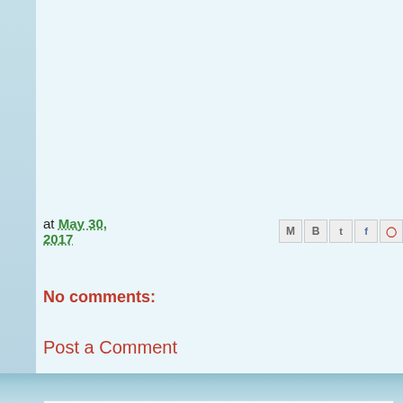at May 30, 2017
No comments:
Post a Comment
Enter Comment